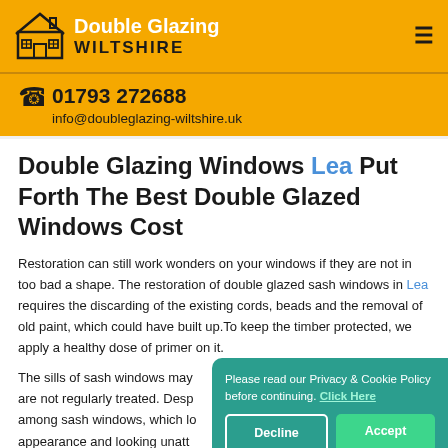Double Glazing WILTSHIRE
01793 272688
info@doubleglazing-wiltshire.uk
Double Glazing Windows Lea Put Forth The Best Double Glazed Windows Cost
Restoration can still work wonders on your windows if they are not in too bad a shape. The restoration of double glazed sash windows in Lea requires the discarding of the existing cords, beads and the removal of old paint, which could have built up. To keep the timber protected, we apply a healthy dose of primer on it.
The sills of sash windows may... are not regularly treated. Despi... among sash windows, which lo... appearance and looking unatt...
Please read our Privacy & Cookie Policy before continuing. Click Here
Decline
Accept